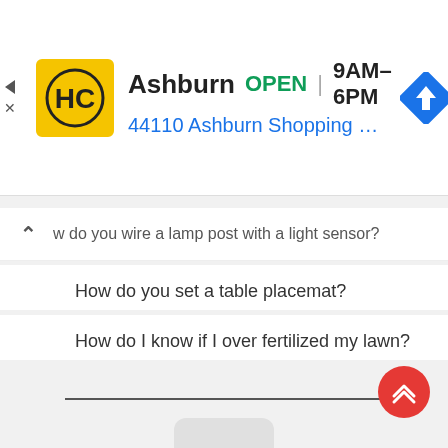[Figure (screenshot): Advertisement banner for HC hardware store in Ashburn showing logo, OPEN status, hours 9AM-6PM, address 44110 Ashburn Shopping Plaza 190, A..., and navigation icon]
w do you wire a lamp post with a light sensor?
How do you set a table placemat?
How do I know if I over fertilized my lawn?